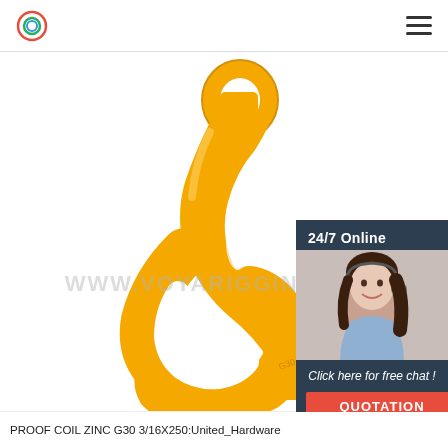Voya Rigging - navigation header with logo and menu
[Figure (photo): Yellow zinc-coated G30 proof coil grab hook on white background with www.voyarigging.com watermark overlay. An inset chat widget shows a female customer support agent wearing a headset, with '24/7 Online' header, 'Click here for free chat!' text, and an orange QUOTATION button.]
PROOF COIL ZINC G30 3/16X250:United_Hardware